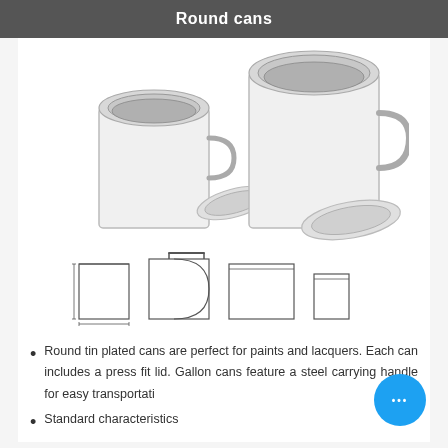Round cans
[Figure (photo): Two white round tin paint cans with metal lids removed and placed in front, showing the interior. One can is smaller than the other.]
[Figure (illustration): Line drawings/schematics of round cans in various sizes showing side profiles and handles.]
Round tin plated cans are perfect for paints and lacquers. Each can includes a press fit lid. Gallon cans feature a steel carrying handle for easy transportation.
Standard characteristics